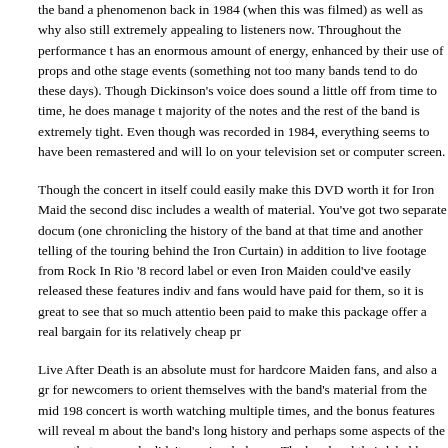the band a phenomenon back in 1984 (when this was filmed) as well as why also still extremely appealing to listeners now. Throughout the performance t has an enormous amount of energy, enhanced by their use of props and othe stage events (something not too many bands tend to do these days). Though Dickinson's voice does sound a little off from time to time, he does manage t majority of the notes and the rest of the band is extremely tight. Even though was recorded in 1984, everything seems to have been remastered and will lo on your television set or computer screen.
Though the concert in itself could easily make this DVD worth it for Iron Maid the second disc includes a wealth of material. You've got two separate docum (one chronicling the history of the band at that time and another telling of the touring behind the Iron Curtain) in addition to live footage from Rock In Rio '8 record label or even Iron Maiden could've easily released these features indiv and fans would have paid for them, so it is great to see that so much attentio been paid to make this package offer a real bargain for its relatively cheap pr
Live After Death is an absolute must for hardcore Maiden fans, and also a gr for newcomers to orient themselves with the band's material from the mid 198 concert is worth watching multiple times, and the bonus features will reveal m about the band's long history and perhaps some aspects of the group that so people didn't previously know. The band and their label has clearly gone all o make this one better than your average music DVD release and it really show
http://www.ironmaiden.com/
Share this: